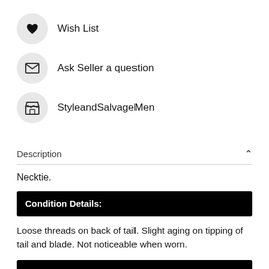Wish List
Ask Seller a question
StyleandSalvageMen
Description
Necktie.
Condition Details:
Loose threads on back of tail. Slight aging on tipping of tail and blade. Not noticeable when worn.
Item Details: